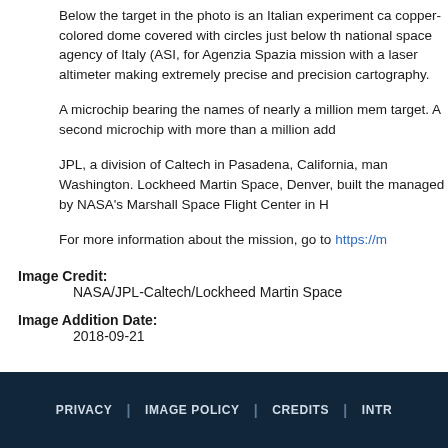Below the target in the photo is an Italian experiment ca copper-colored dome covered with circles just below th national space agency of Italy (ASI, for Agenzia Spazia mission with a laser altimeter making extremely precise and precision cartography.
A microchip bearing the names of nearly a million mem target. A second microchip with more than a million add
JPL, a division of Caltech in Pasadena, California, man Washington. Lockheed Martin Space, Denver, built the managed by NASA's Marshall Space Flight Center in H
For more information about the mission, go to https://m
Image Credit:
    NASA/JPL-Caltech/Lockheed Martin Space
Image Addition Date:
    2018-09-21
PRIVACY | IMAGE POLICY | CREDITS | INTR